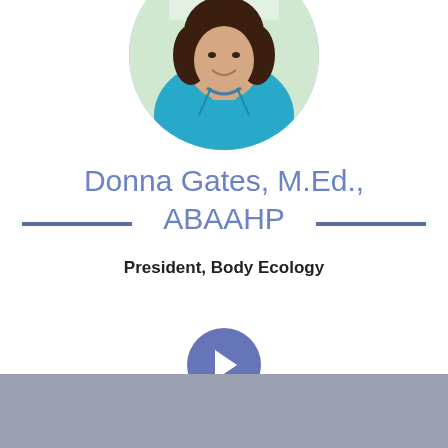[Figure (photo): Circular headshot photo of a woman with dark curly hair wearing a teal/turquoise top and beaded necklace, smiling, with a light background]
Donna Gates, M.Ed., ABAAHP
President, Body Ecology
[Figure (infographic): Blue circular button with a white right-pointing arrow]